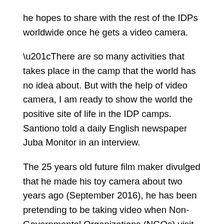he hopes to share with the rest of the IDPs worldwide once he gets a video camera.
“There are so many activities that takes place in the camp that the world has no idea about. But with the help of video camera, I am ready to show the world the positive site of life in the IDP camps. Santiono told a daily English newspaper Juba Monitor in an interview.
The 25 years old future film maker divulged that he made his toy camera about two years ago (September 2016), he has been pretending to be taking video when Non-Governmental Organizations (NGOs) visit the camp where her resides with the hope that any concern person would support him, but all has been in vain , he  lamented.
Santino's dream of becoming a film maker still lives and with